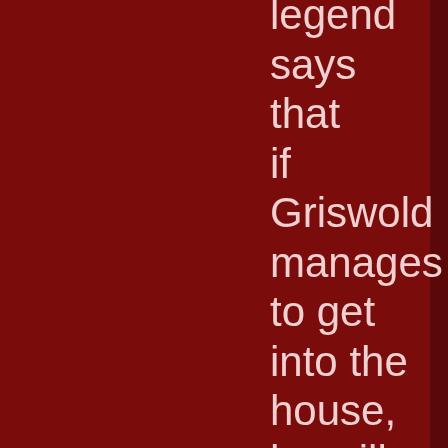The legend says that if Griswold manages to get into the house, he will steal the faces of any